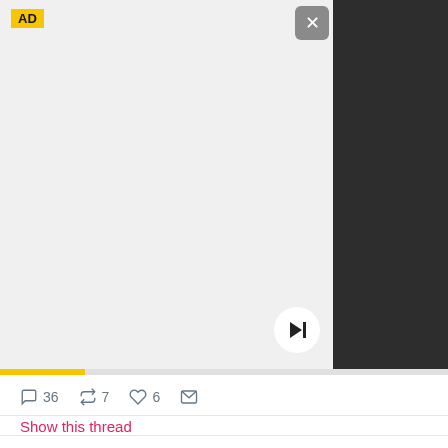[Figure (screenshot): Video player ad with light grey background, dark right panel, play/skip button, yellow progress bar, AD label top-left, X close button top-right]
36  7  6
Show this thread
Benjamin Kelly @benakelly · 2h  I've been terminated from the State House. I made a mistake whereas I tried to inform a reporter of information relating to his story regarding a school shooting. This was not my responsibility.  I meant no disrespect to the students or parents of Parkland.
Get the latest news in the app! Stay up to date on the most breaking news, all from your BuzzFeed app.
Maybe later
Get the app